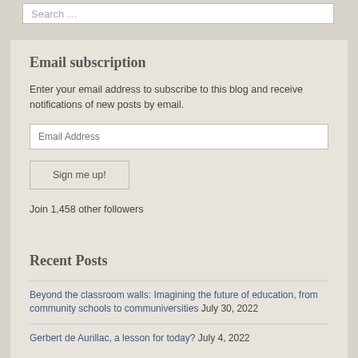Search …
Email subscription
Enter your email address to subscribe to this blog and receive notifications of new posts by email.
Email Address
Sign me up!
Join 1,458 other followers
Recent Posts
Beyond the classroom walls: Imagining the future of education, from community schools to communiversities July 30, 2022
Gerbert de Aurillac, a lesson for today? July 4, 2022